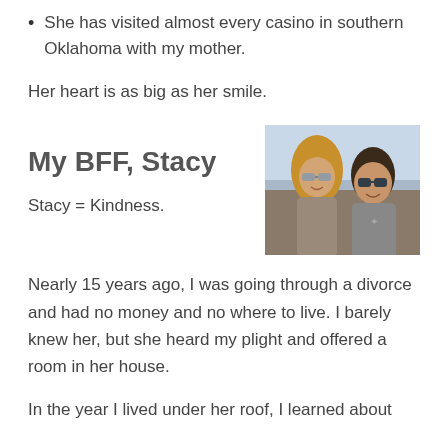She has visited almost every casino in southern Oklahoma with my mother.
Her heart is as big as her smile.
My BFF, Stacy
[Figure (photo): A selfie photo of two women wearing sunglasses, smiling, outdoors near a beach or waterfront.]
Stacy = Kindness.
Nearly 15 years ago, I was going through a divorce and had no money and no where to live. I barely knew her, but she heard my plight and offered a room in her house.
In the year I lived under her roof, I learned about